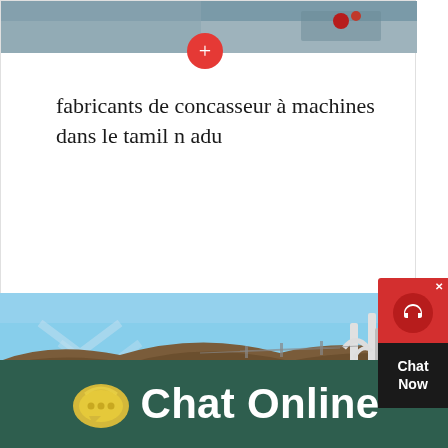[Figure (photo): Top portion of a webpage showing a partial photo of machinery at the top, a red circular plus button overlay]
fabricants de concasseur à machines dans le tamil n adu
[Figure (photo): Photo of an industrial facility with white equipment/pipes against a blue sky and mountain background]
[Figure (screenshot): Chat Now widget on the right side with red top section showing headset icon and dark bottom section with Chat Now text]
Chat Online